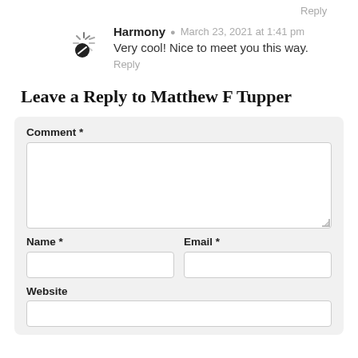Reply
Harmony · March 23, 2021 at 1:41 pm
Very cool! Nice to meet you this way.
Reply
Leave a Reply to Matthew F Tupper
Comment *
Name *
Email *
Website